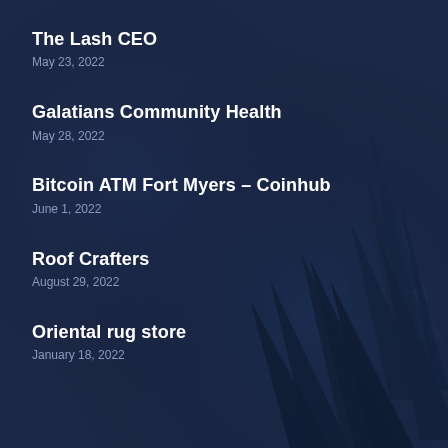The Lash CEO
May 23, 2022
Galatians Community Health
May 28, 2022
Bitcoin ATM Fort Myers – Coinhub
June 1, 2022
Roof Crafters
August 29, 2022
Oriental rug store
January 18, 2022